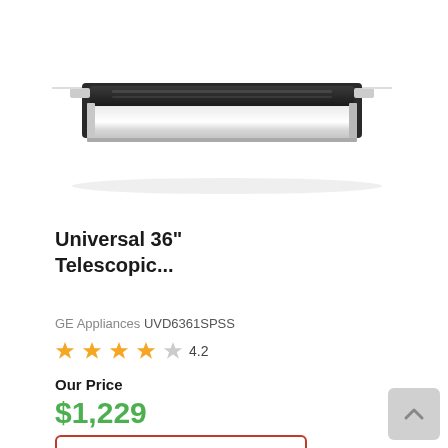[Figure (photo): A stainless steel telescopic downdraft ventilation hood/vent, viewed at an angle, with a black top section and silver/chrome front panel, mounted flush into a surface.]
Universal 36" Telescopic...
GE Appliances UVD6361SPSS
4.2 stars rating
Our Price
$1,229
See Details